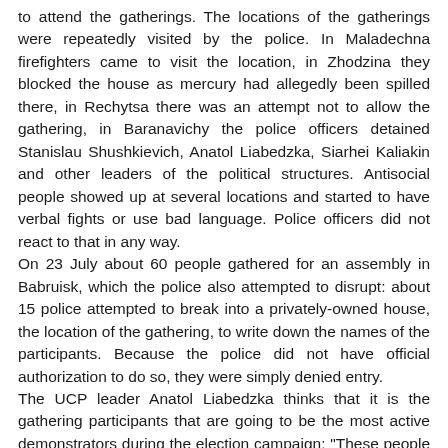to attend the gatherings. The locations of the gatherings were repeatedly visited by the police. In Maladechna firefighters came to visit the location, in Zhodzina they blocked the house as mercury had allegedly been spilled there, in Rechytsa there was an attempt not to allow the gathering, in Baranavichy the police officers detained Stanislau Shushkievich, Anatol Liabedzka, Siarhei Kaliakin and other leaders of the political structures. Antisocial people showed up at several locations and started to have verbal fights or use bad language. Police officers did not react to that in any way.
On 23 July about 60 people gathered for an assembly in Babruisk, which the police also attempted to disrupt: about 15 police attempted to break into a privately-owned house, the location of the gathering, to write down the names of the participants. Because the police did not have official authorization to do so, they were simply denied entry.
The UCP leader Anatol Liabedzka thinks that it is the gathering participants that are going to be the most active demonstrators during the election campaign: "These people come to gatherings, knowing that there can be cases of provocation, that they can be detained, that they would then have to deal with KGB. These are the people who are not afraid of anything